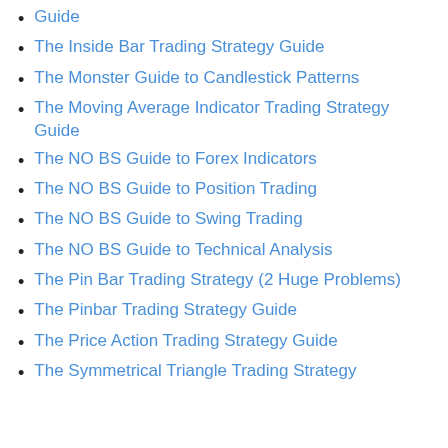Guide
The Inside Bar Trading Strategy Guide
The Monster Guide to Candlestick Patterns
The Moving Average Indicator Trading Strategy Guide
The NO BS Guide to Forex Indicators
The NO BS Guide to Position Trading
The NO BS Guide to Swing Trading
The NO BS Guide to Technical Analysis
The Pin Bar Trading Strategy (2 Huge Problems)
The Pinbar Trading Strategy Guide
The Price Action Trading Strategy Guide
The Symmetrical Triangle Trading Strategy